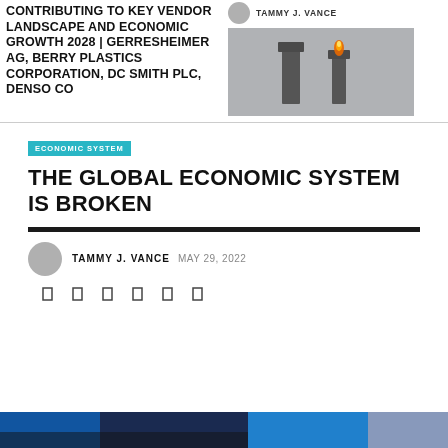CONTRIBUTING TO KEY VENDOR LANDSCAPE AND ECONOMIC GROWTH 2028 | GERRESHEIMER AG, BERRY PLASTICS CORPORATION, DC SMITH PLC, DENSO CO
TAMMY J. VANCE
[Figure (photo): Two industrial chimneys, one with an orange flame, against a grey sky.]
ECONOMIC SYSTEM
THE GLOBAL ECONOMIC SYSTEM IS BROKEN
TAMMY J. VANCE  MAY 29, 2022
[Figure (photo): Partial bottom image strip showing blue-toned photos.]